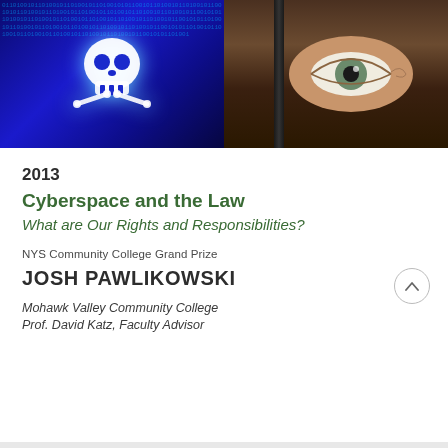[Figure (photo): Two images side by side: left shows a glowing skull and crossbones on a blue digital binary code background; right shows a human eye peering through a gap in a door or partition with brown tones.]
2013
Cyberspace and the Law
What are Our Rights and Responsibilities?
NYS Community College Grand Prize
JOSH PAWLIKOWSKI
Mohawk Valley Community College
Prof. David Katz, Faculty Advisor